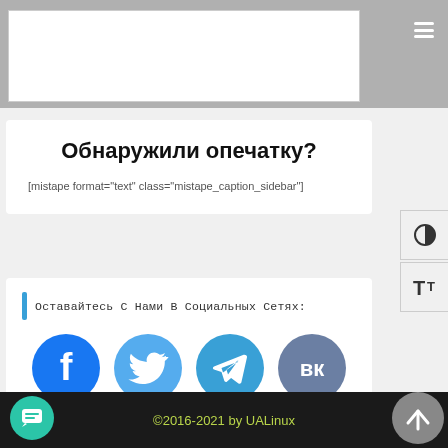Обнаружили опечатку?
[mistape format="text" class="mistape_caption_sidebar"]
Оставайтесь С Нами В Социальных Сетях:
[Figure (infographic): Social media icons: Facebook, Twitter, Telegram, VKontakte]
©2016-2021 by UALinux